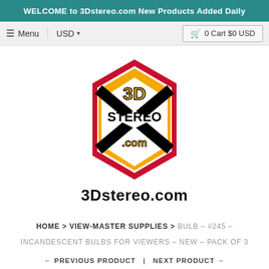WELCOME to 3Dstereo.com New Products Added Daily
≡ Menu   USD ▾   🛒 0 Cart $0 USD
[Figure (logo): 3Dstereo.com logo — a hexagonal badge with orange and red coloring, bold black lettering spelling 3D on top, STEREO in the middle, .com at the bottom, with an X pattern inside. Below the badge: '3Dstereo.com' in bold black text.]
HOME > VIEW-MASTER SUPPLIES > BULB – #245 – INCANDESCENT BULBS FOR VIEWERS – NEW – PACK OF 3
← PREVIOUS PRODUCT  |  NEXT PRODUCT →